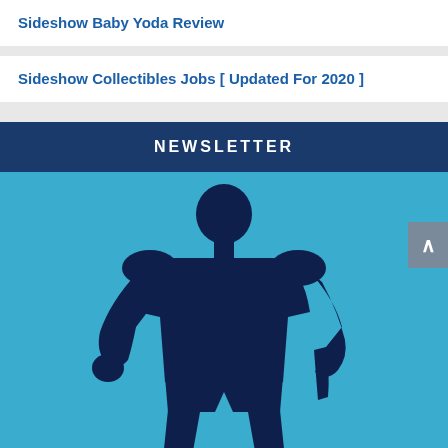Sideshow Baby Yoda Review
Sideshow Collectibles Jobs [ Updated For 2020 ]
NEWSLETTER
[Figure (illustration): Dark navy blue silhouette of a muscular male superhero figure standing upright on a light blue background, arms slightly away from body, one hand in a fist.]